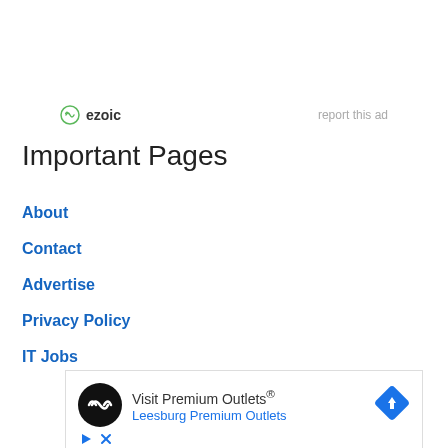[Figure (logo): Ezoic logo with green circular icon and text 'ezoic', with 'report this ad' link on right]
Important Pages
About
Contact
Advertise
Privacy Policy
IT Jobs
[Figure (infographic): Advertisement banner: Premium Outlets logo (black circle with infinity-like symbol), text 'Visit Premium Outlets® Leesburg Premium Outlets', blue diamond arrow icon, play and close controls at bottom]